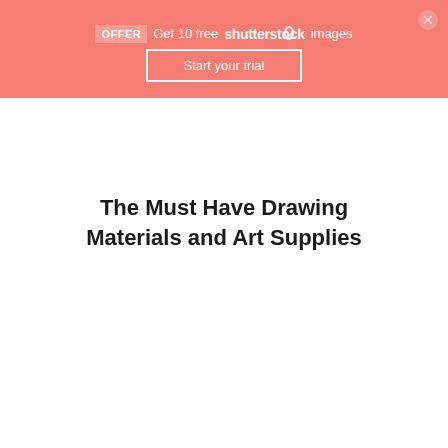OFFER  Get 10 free shutterstock images  Start your trial
The Must Have Drawing Materials and Art Supplies